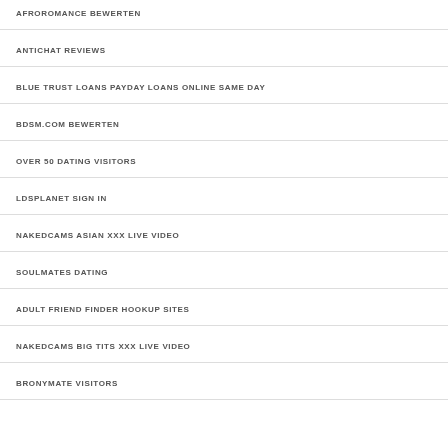AFROROMANCE BEWERTEN
ANTICHAT REVIEWS
BLUE TRUST LOANS PAYDAY LOANS ONLINE SAME DAY
BDSM.COM BEWERTEN
OVER 50 DATING VISITORS
LDSPLANET SIGN IN
NAKEDCAMS ASIAN XXX LIVE VIDEO
SOULMATES DATING
ADULT FRIEND FINDER HOOKUP SITES
NAKEDCAMS BIG TITS XXX LIVE VIDEO
BRONYMATE VISITORS